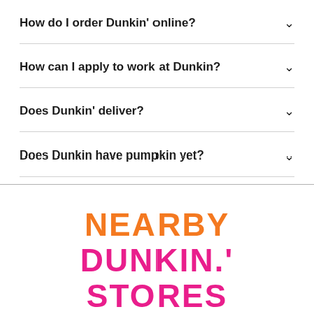How do I order Dunkin' online?
How can I apply to work at Dunkin?
Does Dunkin' deliver?
Does Dunkin have pumpkin yet?
NEARBY DUNKIN.' STORES